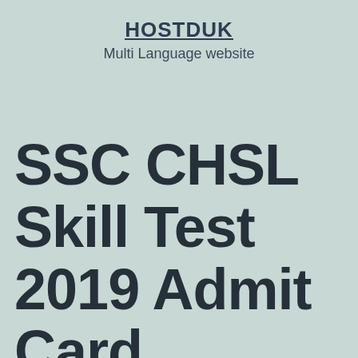HOSTDUK
Multi Language website
SSC CHSL Skill Test 2019 Admit Card released,